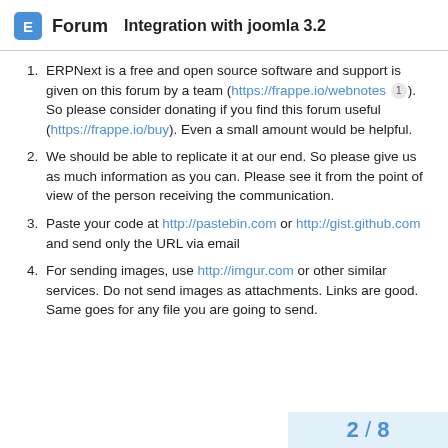Forum  Integration with joomla 3.2
ERPNext is a free and open source software and support is given on this forum by a team (https://frappe.io/webnotes 1). So please consider donating if you find this forum useful (https://frappe.io/buy). Even a small amount would be helpful.
We should be able to replicate it at our end. So please give us as much information as you can. Please see it from the point of view of the person receiving the communication.
Paste your code at http://pastebin.com or http://gist.github.com and send only the URL via email
For sending images, use http://imgur.com or other similar services. Do not send images as attachments. Links are good. Same goes for any file you are going to send.
2 / 8